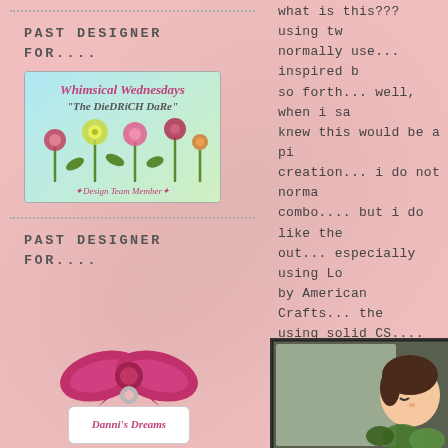what is this??? using tw normally use... inspired b so forth... well, when i sa knew this would be a pi creation... i do not norma combo.... but i do like the out... especially using Lo by American Crafts... the using solid CS.... punched a little bit more to the rib
PAST DESIGNER FOR....
[Figure (illustration): Whimsical Wednesdays 'The Diedrich Dare' badge with colorful flowers on blue/green background and Design Team Member label]
PAST DESIGNER FOR....
[Figure (illustration): Danni's Dreams badge with pink bow ribbon and white tag label]
[Figure (illustration): Greeting card with cartoon character with dark hair, botanical background]